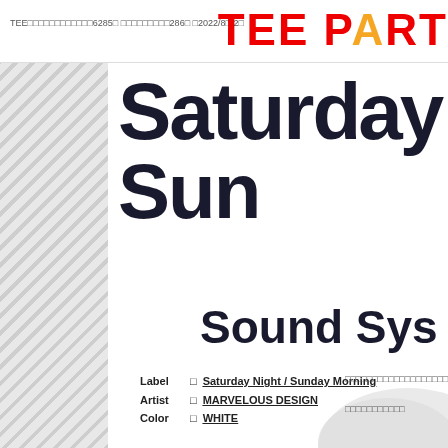TEE□□□□□□□□□□□□6285□ □□□□□□□□□286□ □2022/8□ 2□ TEE PART
Saturday Sunday
Sound Sys
Label □Saturday Night / Sunday Morning
Artist □MARVELOUS DESIGN
Color □WHITE
□□□□□□□□□□□□□□□□□□□□□□□□□□□□□□□□□□□□□□□□□□□
□□□□□□□□□□□